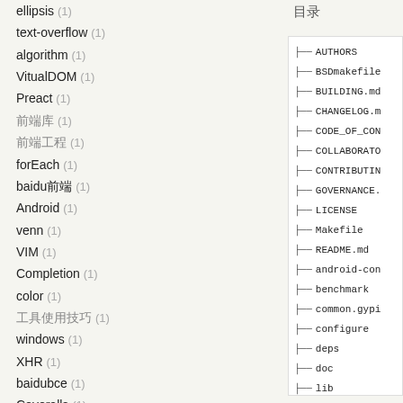ellipsis (1)
text-overflow (1)
algorithm (1)
VitualDOM (1)
Preact (1)
前端库 (1)
前端工程 (1)
forEach (1)
baidu前端 (1)
Android (1)
venn (1)
VIM (1)
Completion (1)
color (1)
工具使用技巧 (1)
windows (1)
XHR (1)
baidubce (1)
Coveralls (1)
Links
Baidu FEX
Baidu EUX
Taobao UED
Tencent AlloyTeam
Tencent ISUX
GTing UED
目录
[Figure (other): File tree listing showing: AUTHORS, BSDmakefile, BUILDING.md, CHANGELOG.m, CODE_OF_CON, COLLABORATO, CONTRIBUTIN, GOVERNANCE., LICENSE, Makefile, README.md, android-con, benchmark, common.gypi, configure, deps, doc, lib, node.gyp, node.gypi, src]